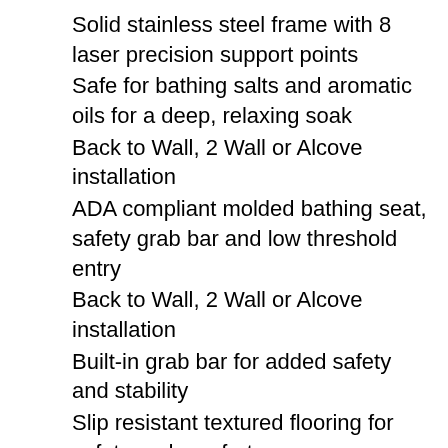Solid stainless steel frame with 8 laser precision support points
Safe for bathing salts and aromatic oils for a deep, relaxing soak
Back to Wall, 2 Wall or Alcove installation
ADA compliant molded bathing seat, safety grab bar and low threshold entry
Back to Wall, 2 Wall or Alcove installation
Built-in grab bar for added safety and stability
Slip resistant textured flooring for safety and comfort
Inward swinging door
6 in. Threshold & 17 in. Seat Height